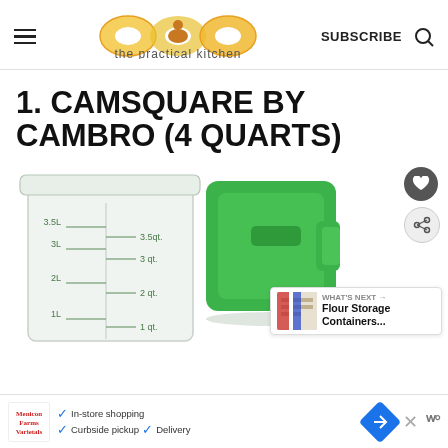the practical kitchen
1. CAMSQUARE BY CAMBRO (4 QUARTS)
[Figure (photo): A translucent plastic square food storage container with measurement markings (3.5L/3.5qt, 3L/3qt, 2L/2qt, 1L/1qt) on the left, and a green square plastic lid on the right. Social sharing buttons (heart/share) visible. A 'What's Next' panel showing 'Flour Storage Containers...' in the bottom right.]
In-store shopping    Curbside pickup    Delivery